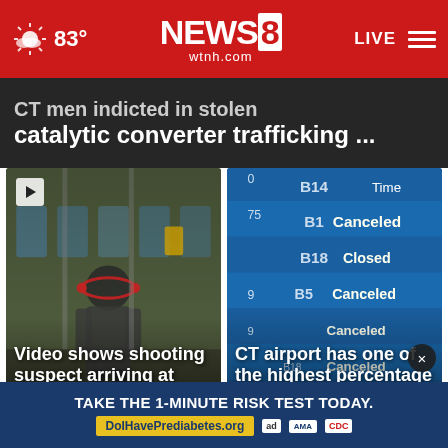83° NEWS 8 wtnh.com LIVE
CT men indicted in stolen catalytic converter trafficking ...
[Figure (screenshot): Security camera footage on a bus interior showing a person walking through]
Video shows shooting suspect arriving at Manchester ...
[Figure (photo): Airport departure board showing cancelled and closed flights with gate numbers B14, B1, B18, B5]
CT airport has one of the highest percentage of flight ...
TAKE THE 1-MINUTE RISK TEST TODAY. DoIHavePrediabetes.org